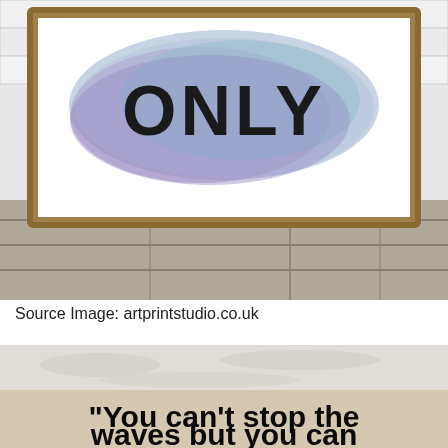[Figure (photo): A framed art print with the word 'ONLY' in bold black letters on a watercolor background of purple and teal, displayed on a rustic wooden floor against a white wooden plank wall.]
Source Image: artprintstudio.co.uk
[Figure (photo): A close-up photo of a sandy beach surface with text printed in large bold black letters reading: 'You can't stop the waves but you can']